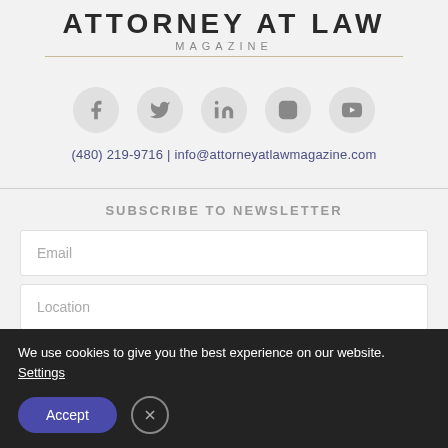ATTORNEY AT LAW MAGAZINE
[Figure (infographic): Five social media icons in light gray circles: Facebook, Twitter, LinkedIn, Instagram, YouTube]
(480) 219-9716 | info@attorneyatlawmagazine.com
SUBSCRIBE TO NEWSLETTER
Email
Location
We use cookies to give you the best experience on our website. Settings
Accept